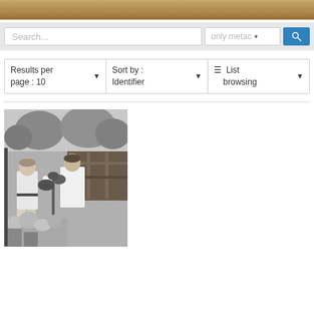[Figure (photo): Decorative header photo showing dry vegetation/straw landscape]
Search...
only metac
Results per page : 10
Sort by : Identifier
☰  List browsing
[Figure (photo): Black and white photograph of two men in a garden, one in a white shirt standing, the other looking at a plant]